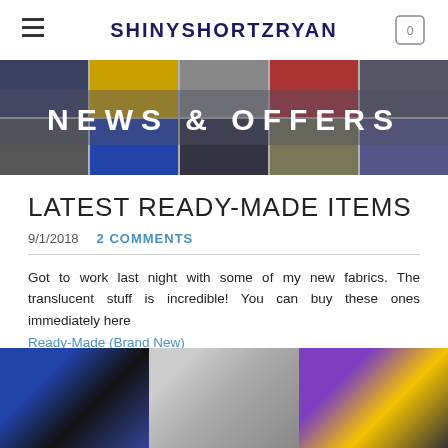SHINYSHORTZRYAN
[Figure (photo): Banner image collage of shiny shorts in various colors arranged in two rows with overlaid text NEWS & OFFERS]
LATEST READY-MADE ITEMS
9/1/2018   2 COMMENTS
Got to work last night with some of my new fabrics. The translucent stuff is incredible! You can buy these ones immediately here
Ready-Made (Brand New)
or order them in your own size/design through the Shop.
[Figure (photo): Three side-by-side photo collages of shiny shorts: blue/dark, translucent/silver, and purple/gold]